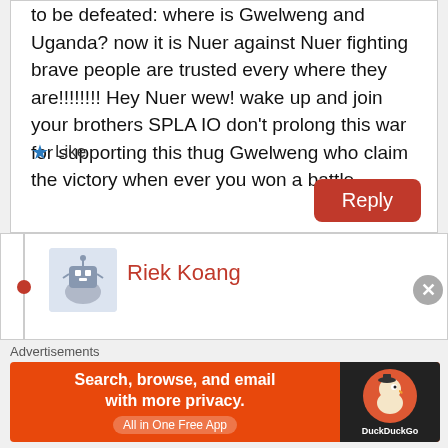to be defeated: where is Gwelweng and Uganda? now it is Nuer against Nuer fighting brave people are trusted every where they are!!!!!!!! Hey Nuer wew! wake up and join your brothers SPLA IO don't prolong this war for supporting this thug Gwelweng who claim the victory when ever you won a battle
★ Like
Reply
Riek Koang
Advertisements
[Figure (screenshot): DuckDuckGo advertisement banner: orange background with text 'Search, browse, and email with more privacy. All in One Free App' and DuckDuckGo duck logo on dark right panel]